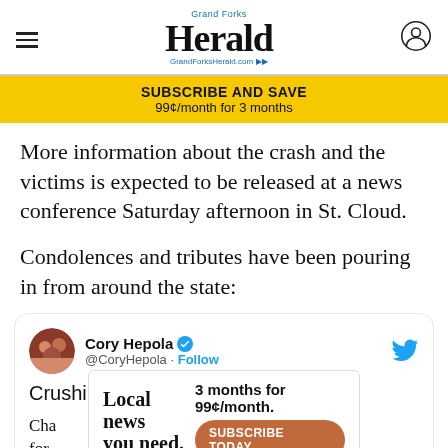Grand Forks Herald — GrandForksHerald.com
SUBSCRIBE AND SAVE
99¢/month for 3 months
More information about the crash and the victims is expected to be released at a news conference Saturday afternoon in St. Cloud.
Condolences and tributes have been pouring in from around the state:
[Figure (screenshot): Embedded tweet from @CoryHepola with blue verified checkmark and Twitter bird logo. Tweet text: 'Crushing.' followed by partial text starting with 'Cha...' and 'for...' with an ad overlay on top of the bottom portion.]
Crushing.
Local news you need.  3 months for 99¢/month. SUBSCRIBE TODAY